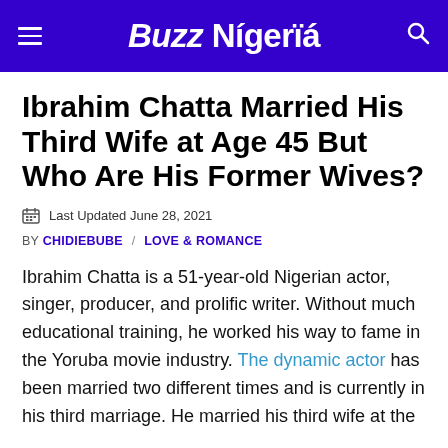Buzz Nigeria
Ibrahim Chatta Married His Third Wife at Age 45 But Who Are His Former Wives?
Last Updated June 28, 2021
BY CHIDIEBUBE / LOVE & ROMANCE
Ibrahim Chatta is a 51-year-old Nigerian actor, singer, producer, and prolific writer. Without much educational training, he worked his way to fame in the Yoruba movie industry. The dynamic actor has been married two different times and is currently in his third marriage. He married his third wife at the age of 45, after he wedding the secret...